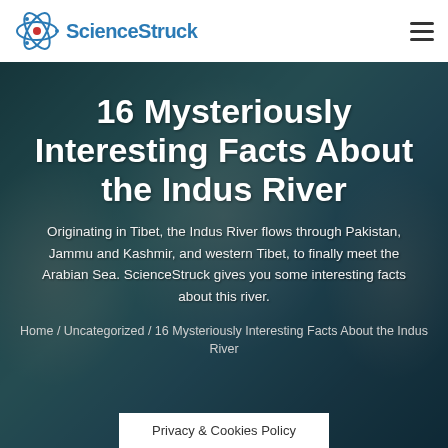ScienceStruck
16 Mysteriously Interesting Facts About the Indus River
Originating in Tibet, the Indus River flows through Pakistan, Jammu and Kashmir, and western Tibet, to finally meet the Arabian Sea. ScienceStruck gives you some interesting facts about this river.
Home / Uncategorized / 16 Mysteriously Interesting Facts About the Indus River
Privacy & Cookies Policy